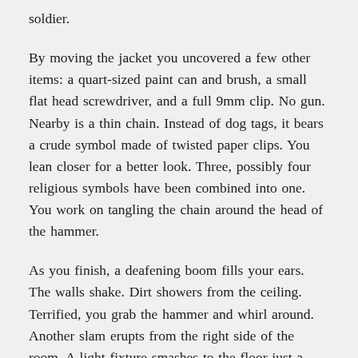soldier.
By moving the jacket you uncovered a few other items: a quart-sized paint can and brush, a small flat head screwdriver, and a full 9mm clip. No gun. Nearby is a thin chain. Instead of dog tags, it bears a crude symbol made of twisted paper clips. You lean closer for a better look. Three, possibly four religious symbols have been combined into one. You work on tangling the chain around the head of the hammer.
As you finish, a deafening boom fills your ears. The walls shake. Dirt showers from the ceiling. Terrified, you grab the hammer and whirl around. Another slam erupts from the right side of the room. A light fixture smashes to the floor just a foot away. Another slam now, from the left side. In the pause between, you hear wings.